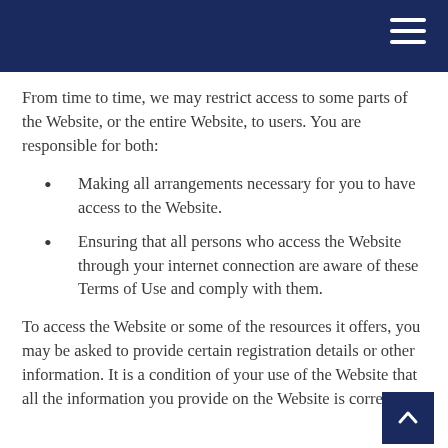From time to time, we may restrict access to some parts of the Website, or the entire Website, to users. You are responsible for both:
Making all arrangements necessary for you to have access to the Website.
Ensuring that all persons who access the Website through your internet connection are aware of these Terms of Use and comply with them.
To access the Website or some of the resources it offers, you may be asked to provide certain registration details or other information. It is a condition of your use of the Website that all the information you provide on the Website is correct,